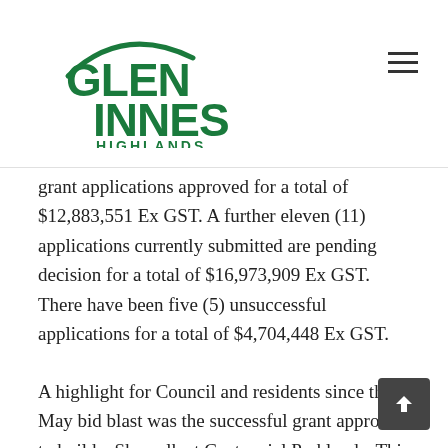Glen Innes Highlands [logo]
grant applications approved for a total of $12,883,551 Ex GST. A further eleven (11) applications currently submitted are pending decision for a total of $16,973,909 Ex GST. There have been five (5) unsuccessful applications for a total of $4,704,448 Ex GST.
A highlight for Council and residents since the May bid blast was the successful grant approval to build a Skywalk at Centennial Parklands. This new tourism and local active participation attraction will integrate Celtic and Ngoorabul culture around an elevated